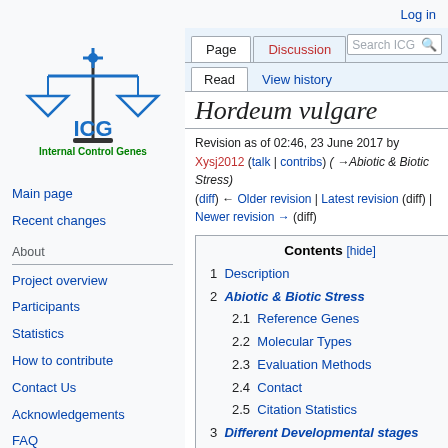Log in
[Figure (logo): ICG Internal Control Genes logo with blue balance scales and green text]
Main page
Recent changes
About
Project overview
Participants
Statistics
How to contribute
Contact Us
Acknowledgements
FAQ
Links
BIG Data Center
Hordeum vulgare
Revision as of 02:46, 23 June 2017 by Xysj2012 (talk | contribs) (→Abiotic & Biotic Stress)
(diff) ← Older revision | Latest revision (diff) | Newer revision → (diff)
| Contents [hide] |
| --- |
| 1  Description |
| 2  Abiotic & Biotic Stress |
| 2.1  Reference Genes |
| 2.2  Molecular Types |
| 2.3  Evaluation Methods |
| 2.4  Contact |
| 2.5  Citation Statistics |
| 3  Different Developmental stages |
| 3.1  Reference Genes |